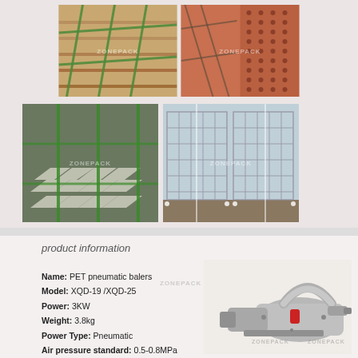[Figure (photo): Top row: two photos of plywood sheets with green strapping tape; Bottom row: metal ingots bundled with green strapping, wire cage pallets with clear strapping. Watermark ZONEPACK visible.]
product information
Name: PET pneumatic balers
Model: XQD-19 /XQD-25
Power: 3KW
Weight: 3.8kg
Power Type: Pneumatic
Air pressure standard: 0.5-0.8MPa
Sealing method: Friction heat welding
[Figure (photo): PET pneumatic baler tool (XQD model), metallic silver handheld strapping machine with red trigger and pneumatic hose connector]